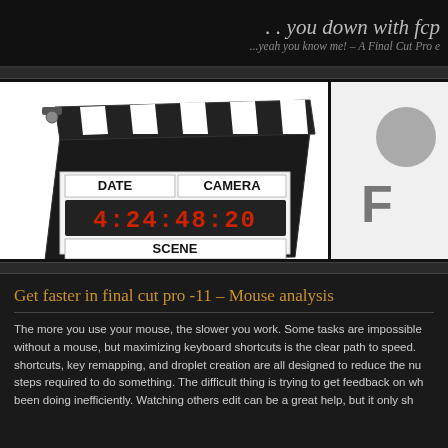.. you down with fcp
...yeah you know me! – A Final Cut Pro e
[Figure (photo): Film clapperboard showing DATE, CAMERA, SCENE fields and red LED timecode display reading 4:24:48:20]
[Figure (illustration): Partial view of a circular grey icon and the letter F, likely a logo or profile picture placeholder]
Get faster in final cut pro -11 – Mouse analysis
The more you use your mouse, the slower you work. Some tasks are impossible without a mouse, but maximizing keyboard shortcuts is the clear path to speed. shortcuts, key remapping, and droplet creation are all designed to reduce the nu steps required to do something. The difficult thing is trying to get feedback on wh been doing inefficiently. Watching others edit can be a great help, but it only sh